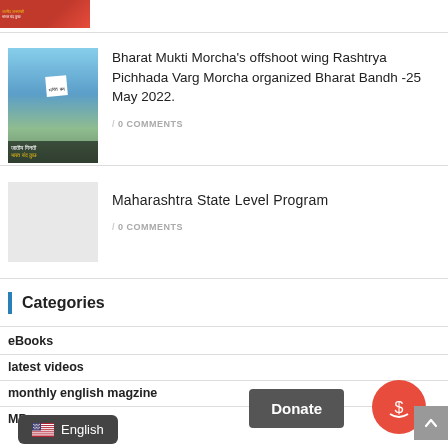[Figure (photo): Partial top image from previous article with Hindi text overlay, red/orange color]
Bharat Mukti Morcha’s offshoot wing Rashtrya Pichhada Varg Morcha organized Bharat Bandh -25 May 2022.
/ 0 COMMENTS
[Figure (photo): Gray placeholder image for Maharashtra State Level Program article]
Maharashtra State Level Program
/ 0 COMMENTS
Categories
eBooks
latest videos
monthly english magzine
MP
[Figure (other): Donate button (dark gray), donate circle button (red with dollar icon), language selector pill (English/US flag), scroll-to-top button]